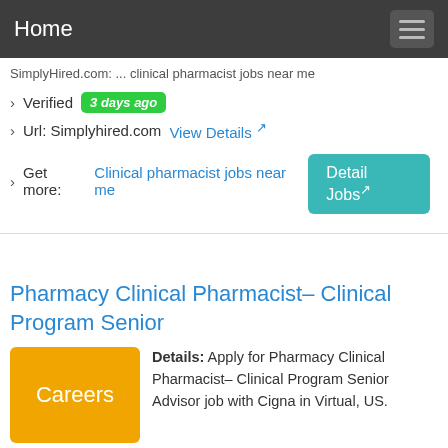Home
SimplyHired.com: ... clinical pharmacist jobs near me
› Verified  3 days ago
› Url: Simplyhired.com  View Details
› Get more:  Clinical pharmacist jobs near me
Detail Jobs
Pharmacy Clinical Pharmacist– Clinical Program Senior
Details: Apply for Pharmacy Clinical Pharmacist– Clinical Program Senior Advisor job with Cigna in Virtual, US. Operations at Cigna pharmacist clinical specialist
› Verified  2 days ago